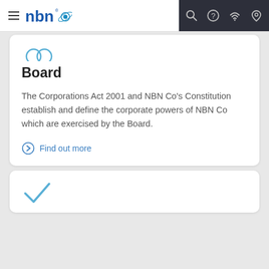nbn - navigation bar with hamburger menu, search, help, wifi, location icons
[Figure (illustration): Partial person/board icon in blue at top of first card]
Board
The Corporations Act 2001 and NBN Co's Constitution establish and define the corporate powers of NBN Co which are exercised by the Board.
Find out more
[Figure (illustration): Blue checkmark icon at bottom card]